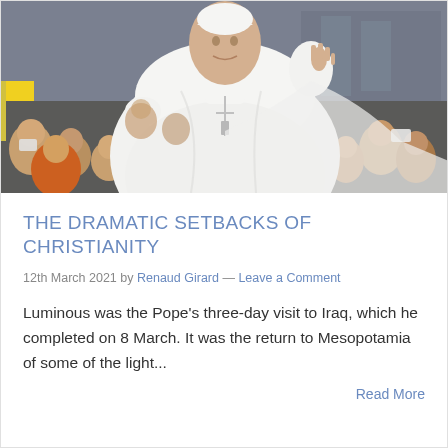[Figure (photo): Photo of Pope Francis in white vestments waving to a crowd of people, many holding cameras and phones. He wears a white zucchetto and a large silver cross on a chain. Crowd surrounds him in the background.]
THE DRAMATIC SETBACKS OF CHRISTIANITY
12th March 2021 by Renaud Girard — Leave a Comment
Luminous was the Pope's three-day visit to Iraq, which he completed on 8 March. It was the return to Mesopotamia of some of the light...
Read More